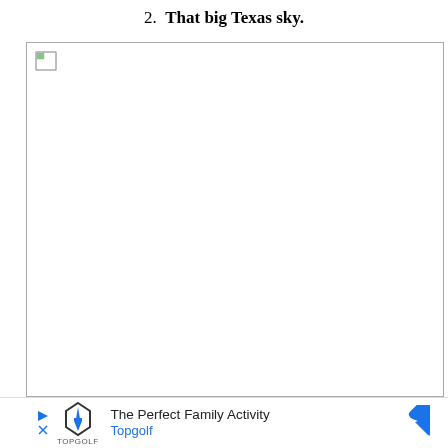2. That big Texas sky.
[Figure (photo): Broken/missing image placeholder showing a small broken image icon in the top-left corner of a white bordered box]
The Perfect Family Activity Topgolf